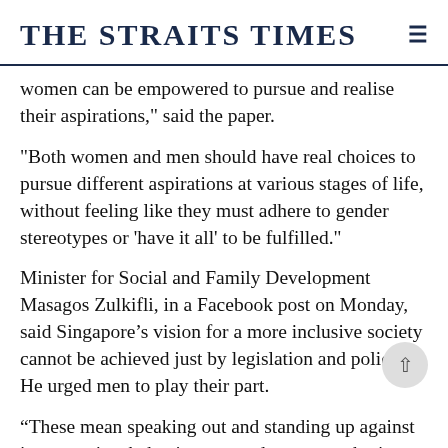THE STRAITS TIMES
women can be empowered to pursue and realise their aspirations," said the paper.
"Both women and men should have real choices to pursue different aspirations at various stages of life, without feeling like they must adhere to gender stereotypes or 'have it all' to be fulfilled."
Minister for Social and Family Development Masagos Zulkifli, in a Facebook post on Monday, said Singapore’s vision for a more inclusive society cannot be achieved just by legislation and policies. He urged men to play their part.
“These mean speaking out and standing up against inappropriate behaviour towards women, sharing